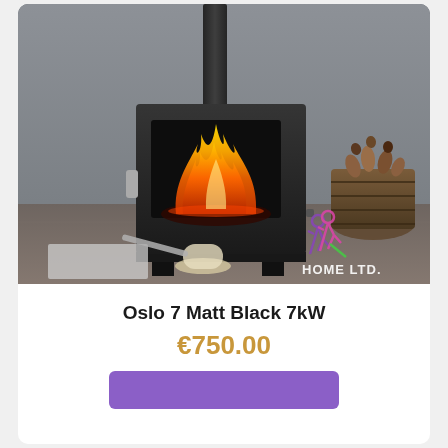[Figure (photo): A black Oslo 7 Matt Black 7kW wood burning stove against a grey wall, with a basket of logs to the right and table items in the foreground. A HOME LTD. watermark is visible in the lower right.]
Oslo 7 Matt Black 7kW
€750.00